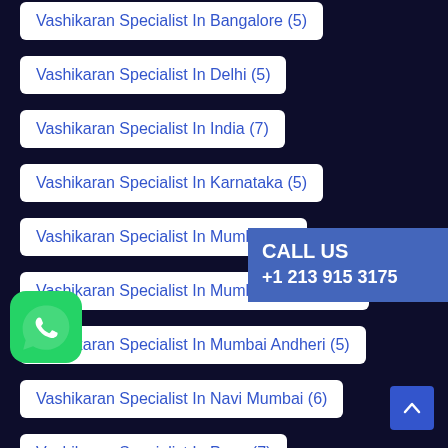Vashikaran Specialist In Bangalore (5)
Vashikaran Specialist In Delhi (5)
Vashikaran Specialist In India (7)
Vashikaran Specialist In Karnataka (5)
Vashikaran Specialist In Mumbai (6)
Vashikaran Specialist In Mumbai Address (6)
Vashikaran Specialist In Mumbai Andheri (5)
Vashikaran Specialist In Navi Mumbai (6)
Vashikaran Specialist In Pune (7)
Vashikaran Specialist In Surat (5)
Vashikaran Specialist Near Me (9)
Which Surah Is Good For Marriage? (4)
CALL US +1 213 915 3175